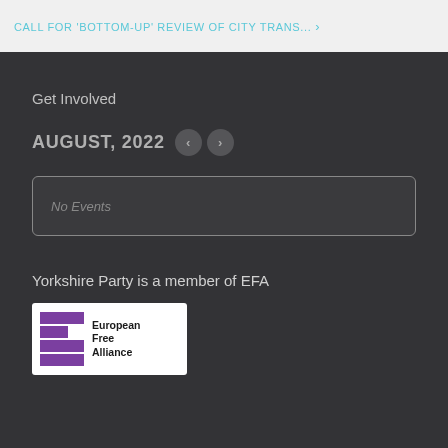CALL FOR 'BOTTOM-UP' REVIEW OF CITY TRANS...
Get Involved
AUGUST, 2022
No Events
Yorkshire Party is a member of EFA
[Figure (logo): European Free Alliance logo with purple E-shaped icon and text 'European Free Alliance']